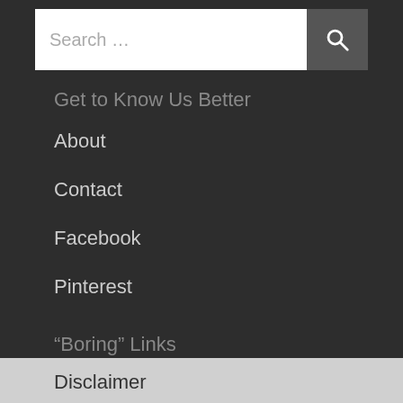Search …
Get to Know Us Better
About
Contact
Facebook
Pinterest
“Boring” Links
Disclaimer